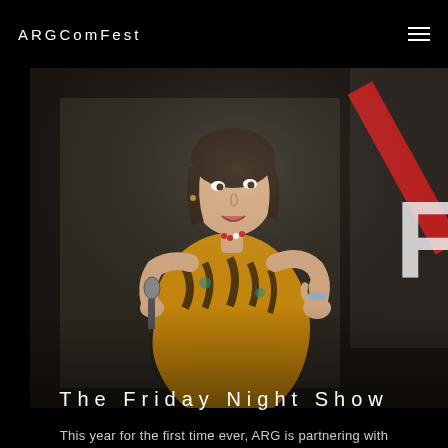ARGComFest
[Figure (photo): A woman performing stand-up comedy on stage, holding a microphone, wearing a tiger-print dress, gesturing with her other hand. A sign with a red slash is visible in the background.]
The Friday Night Show
This year for the first time ever, ARG is partnering with